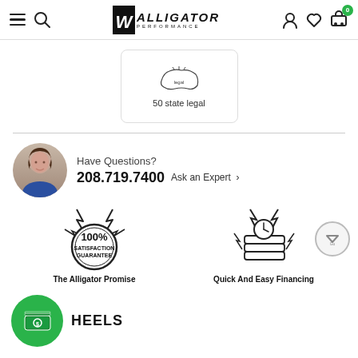Alligator Performance — navigation header with menu, search, logo, user, wishlist, cart (0)
[Figure (illustration): 50 state legal badge with USA map illustration inside a rounded rectangle card]
50 state legal
Have Questions?
208.719.7400   Ask an Expert >
[Figure (illustration): 100% Satisfaction Guarantee badge with lightning bolt decorations — The Alligator Promise]
The Alligator Promise
[Figure (illustration): Quick financing icon with money stack and lightning bolts]
Quick And Easy Financing
HEELS